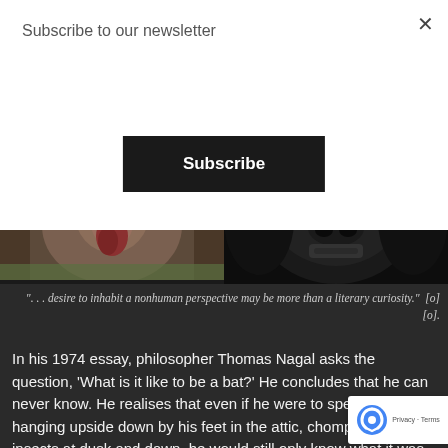Subscribe to our newsletter
Subscribe
[Figure (photo): Close-up photo of a turkey or bird face (left) and a gorilla face (right) in a dark, moody style]
". . . desire to inhabit a nonhuman perspective may be more than a literary curiosity."  [o] [o].
In his 1974 essay, philosopher Thomas Nagal asks the question, 'What is it like to be a bat?' He concludes that he can never know. He realises that even if he were to spend his days hanging upside down by his feet in the attic, chomping on insects at dusk and dawn, he would still only know what it was like for a human to behave as a bat behaves, not what it was like for a bat to b
I think that Nagal is probably right; we cannot enter fully into t experience of a nonhuman animal. None of us can know what it is to b